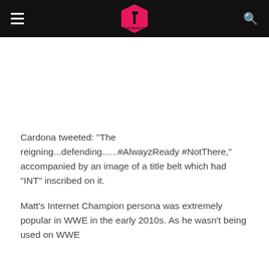CULTAHOLIC
Cardona tweeted: "The reigning...defending......#AlwayzReady #NotThere," accompanied by an image of a title belt which had "INT" inscribed on it.
Matt's Internet Champion persona was extremely popular in WWE in the early 2010s. As he wasn't being used on WWE